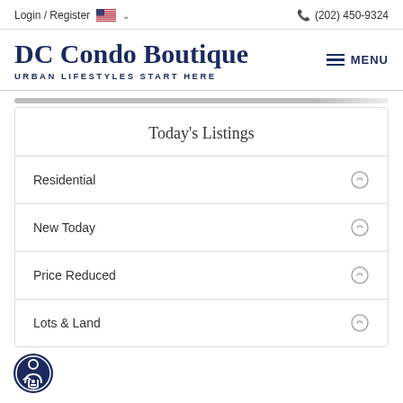Login / Register  (202) 450-9324
DC Condo Boutique
URBAN LIFESTYLES START HERE
Today's Listings
Residential
New Today
Price Reduced
Lots & Land